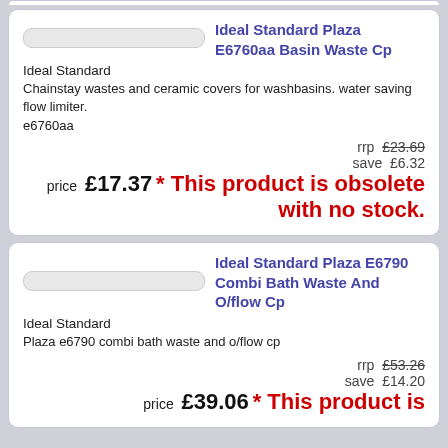Ideal Standard Plaza E6760aa Basin Waste Cp
Ideal Standard
Chainstay wastes and ceramic covers for washbasins. water saving flow limiter.
e6760aa
rrp £23.69
save £6.32
price £17.37 * This product is obsolete with no stock.
Ideal Standard Plaza E6790 Combi Bath Waste And O/flow Cp
Ideal Standard
Plaza e6790 combi bath waste and o/flow cp
rrp £53.26
save £14.20
price £39.06 * This product is